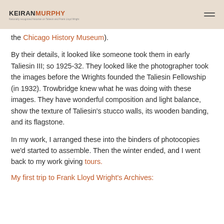KEIRAN MURPHY
the Chicago History Museum).
By their details, it looked like someone took them in early Taliesin III; so 1925-32. They looked like the photographer took the images before the Wrights founded the Taliesin Fellowship (in 1932). Trowbridge knew what he was doing with these images. They have wonderful composition and light balance, show the texture of Taliesin's stucco walls, its wooden banding, and its flagstone.
In my work, I arranged these into the binders of photocopies we'd started to assemble. Then the winter ended, and I went back to my work giving tours.
My first trip to Frank Lloyd Wright's Archives: